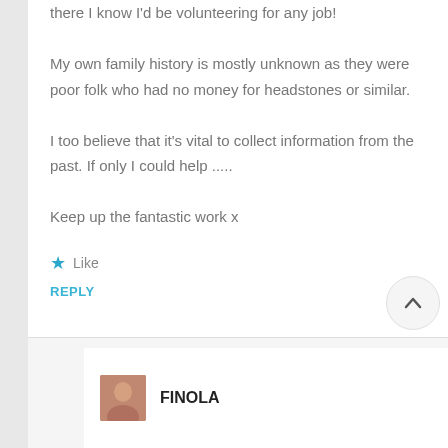there I know I'd be volunteering for any job!
My own family history is mostly unknown as they were poor folk who had no money for headstones or similar.
I too believe that it's vital to collect information from the past. If only I could help .....
Keep up the fantastic work x
★ Like
REPLY
FINOLA